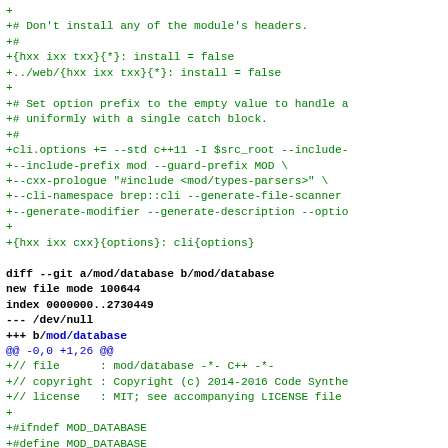diff --git a/mod/database b/mod/database new file mode 100644 index 0000000..2730449 --- /dev/null +++ b/mod/database @@ -0,0 +1,26 @@ +// file : mod/database -*- C++ -*- +// copyright : Copyright (c) 2014-2016 Code Synthe +// license : MIT; see accompanying LICENSE file + +#ifndef MOD_DATABASE +#define MOD_DATABASE +